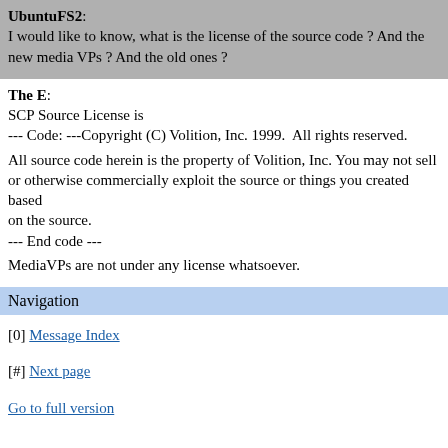UbuntuFS2: I would like to know, what is the license of the source code ? And the new media VPs ? And the old ones ?
The E: SCP Source License is --- Code: ---Copyright (C) Volition, Inc. 1999.  All rights reserved. All source code herein is the property of Volition, Inc. You may not sell or otherwise commercially exploit the source or things you created based on the source. --- End code --- MediaVPs are not under any license whatsoever.
Navigation
[0] Message Index
[#] Next page
Go to full version